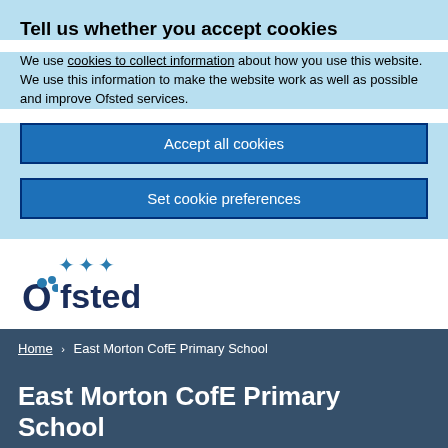Tell us whether you accept cookies
We use cookies to collect information about how you use this website. We use this information to make the website work as well as possible and improve Ofsted services.
Accept all cookies
Set cookie preferences
[Figure (logo): Ofsted logo with blue star figures and dark blue wordmark]
Home > East Morton CofE Primary School
East Morton CofE Primary School
URN: 145072